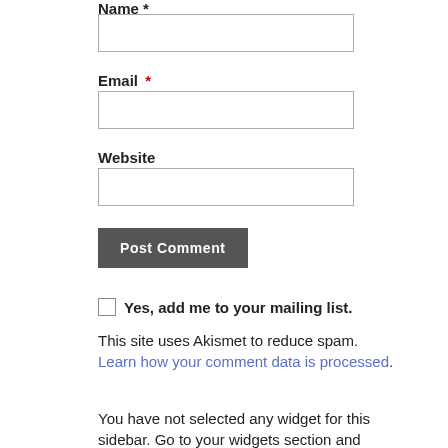Name *
[Figure (other): Text input field for Name]
Email *
[Figure (other): Text input field for Email]
Website
[Figure (other): Text input field for Website]
[Figure (other): Post Comment button]
Yes, add me to your mailing list.
This site uses Akismet to reduce spam. Learn how your comment data is processed.
You have not selected any widget for this sidebar. Go to your widgets section and